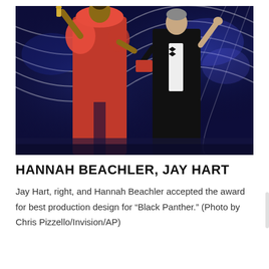[Figure (photo): Hannah Beachler and Jay Hart on stage at the Oscars. Beachler is on the left wearing a bright orange gown with her arm raised holding an Oscar statuette. Hart is on the right in a black tuxedo with his arm raised. The background is dark blue with sweeping white light arcs typical of the Oscars stage.]
HANNAH BEACHLER, JAY HART
Jay Hart, right, and Hannah Beachler accepted the award for best production design for “Black Panther.” (Photo by Chris Pizzello/Invision/AP)